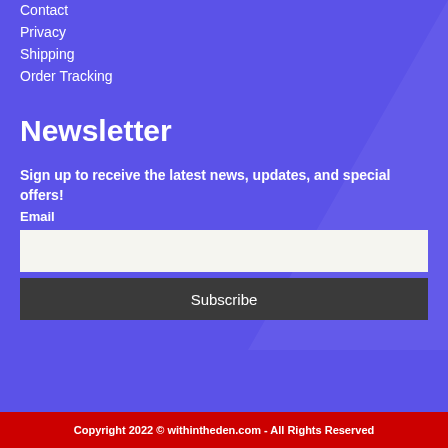Contact
Privacy
Shipping
Order Tracking
Newsletter
Sign up to receive the latest news, updates, and special offers!
Email
Subscribe
Copyright 2022 © withintheden.com - All Rights Reserved